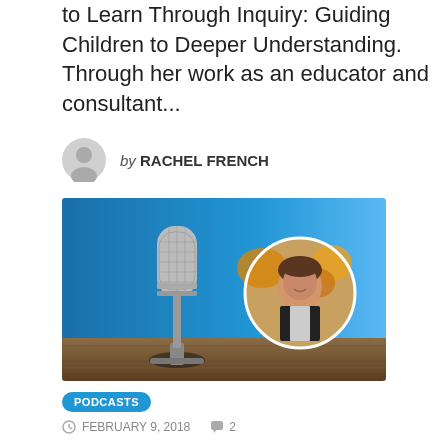to Learn Through Inquiry: Guiding Children to Deeper Understanding. Through her work as an educator and consultant...
by RACHEL FRENCH
[Figure (photo): Podcast promotional image: a vintage silver microphone on a wooden surface against a blue background, with a circular inset photo of a woman (Rachel French) smiling, surrounded by autumn leaves.]
PODCASTS
FEBRUARY 9, 2018   2